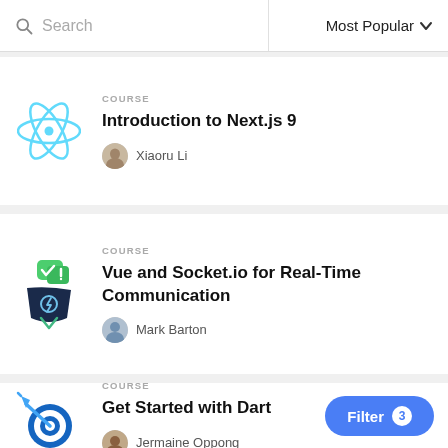Search | Most Popular
COURSE
Introduction to Next.js 9
Xiaoru Li
COURSE
Vue and Socket.io for Real-Time Communication
Mark Barton
COURSE
Get Started with Dart
Jermaine Oppong